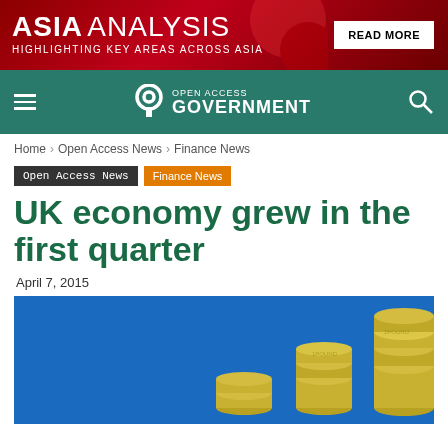[Figure (other): Asia Analysis banner advertisement with red gradient background, white text reading ASIA ANALYSIS / HIGHLIGHTING KEY AREAS ACROSS ASIA, and a READ MORE button]
[Figure (other): Open Access Government navigation bar with teal/green background, hamburger menu, lock logo, and search icon]
Home › Open Access News › Finance News
Open Access News   Finance News
UK economy grew in the first quarter
April 7, 2015
[Figure (photo): Blue background with stacks of British pound coins growing in height from left to right]